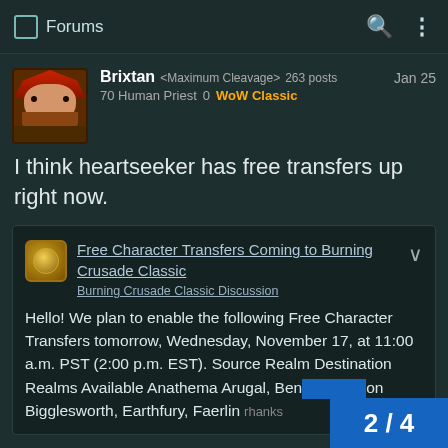Forums
Brixtan <Maximum Cleavage> 263 posts   Jan 25
70 Human Priest  0  WoW Classic
I think heartseeker has free transfers up right now.
Free Character Transfers Coming to Burning Crusade Classic
Burning Crusade Classic Discussion
Hello! We plan to enable the following Free Character Transfers tomorrow, Wednesday, November 17, at 11:00 a.m. PST (2:00 p.m. EST). Source Realm Destination Realms Available Anathema Arugal, Ben Bigglesworth, Earthfury, Faerlin
2 / 4